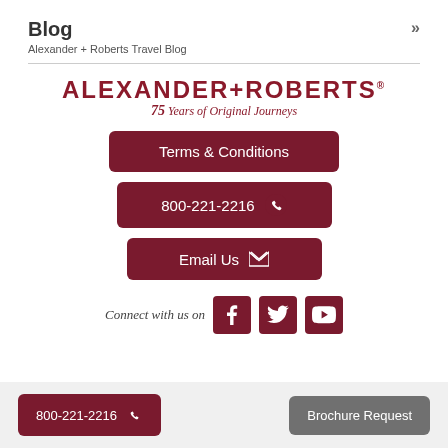Blog
Alexander + Roberts Travel Blog
[Figure (logo): Alexander+Roberts logo with text '75 Years of Original Journeys']
Terms & Conditions
800-221-2216
Email Us
Connect with us on [Facebook] [Twitter] [YouTube]
800-221-2216
Brochure Request